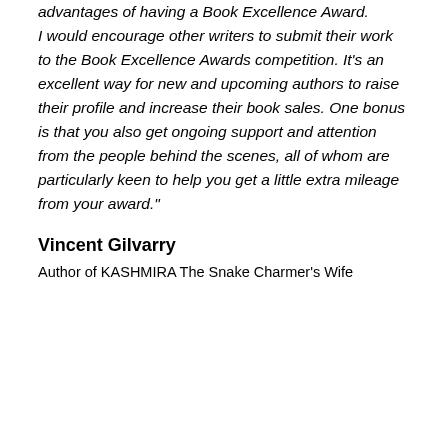advantages of having a Book Excellence Award. I would encourage other writers to submit their work to the Book Excellence Awards competition. It's an excellent way for new and upcoming authors to raise their profile and increase their book sales. One bonus is that you also get ongoing support and attention from the people behind the scenes, all of whom are particularly keen to help you get a little extra mileage from your award."
Vincent Gilvarry
Author of KASHMIRA The Snake Charmer's Wife